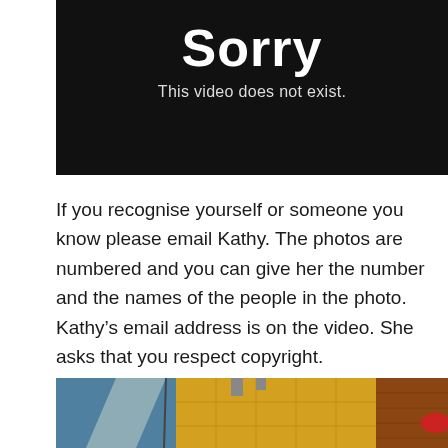[Figure (screenshot): Black video player placeholder showing 'Sorry' in large bold white text and 'This video does not exist.' below in smaller white text on a dark background.]
If you recognise yourself or someone you know please email Kathy. The photos are numbered and you can give her the number and the names of the people in the photo. Kathy's email address is on the video. She asks that you respect copyright.
[Figure (photo): A street scene photo showing a yellow building, reflections in a bus or tram window, power lines, a brick building on the right, and what appears to be a person in a red hat partially visible on the right edge.]